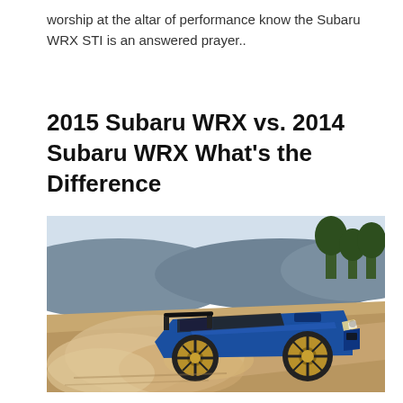worship at the altar of performance know the Subaru WRX STI is an answered prayer..
2015 Subaru WRX vs. 2014 Subaru WRX What's the Difference
[Figure (photo): A blue Subaru WRX STI racing on a dirt road kicking up dust, with trees and hills in the background.]